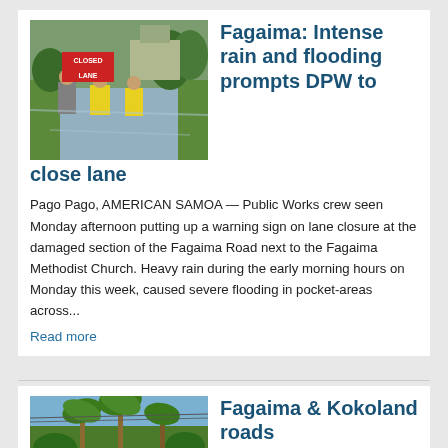[Figure (photo): Workers in yellow vests holding a CLOSED LANE warning sign on a flooded road next to grass. Water covers the pavement.]
Fagaima: Intense rain and flooding prompts DPW to close lane
Pago Pago, AMERICAN SAMOA — Public Works crew seen Monday afternoon putting up a warning sign on lane closure at the damaged section of the Fagaima Road next to the Fagaima Methodist Church. Heavy rain during the early morning hours on Monday this week, caused severe flooding in pocket-areas across...
Read more
[Figure (photo): A road with palm trees and tropical vegetation along the side, with a car visible in the background.]
Fagaima & Kokoland roads